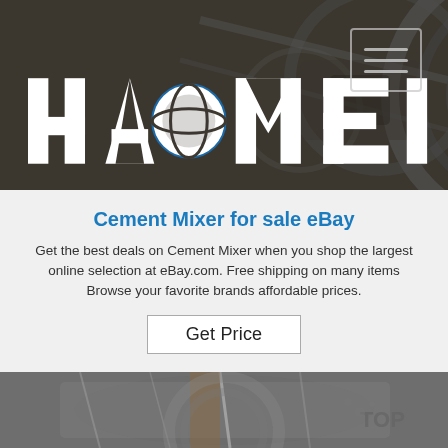[Figure (photo): Dark banner header with industrial machinery/equipment in background, HAOMEI logo on left, hamburger menu icon on right]
Cement Mixer for sale eBay
Get the best deals on Cement Mixer when you shop the largest online selection at eBay.com. Free shipping on many items Browse your favorite brands affordable prices.
[Figure (photo): Image of a cement mixer machine wrapped in plastic/packaging material, partially visible text 'TOP' on right side]